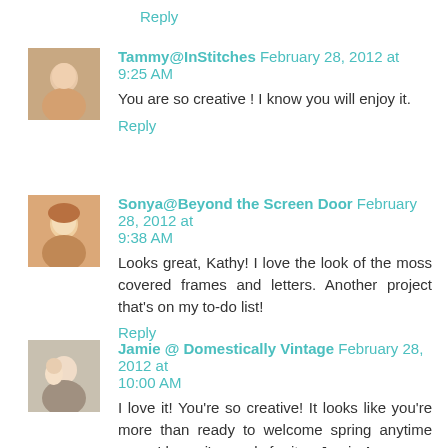Reply
Tammy@InStitches February 28, 2012 at 9:25 AM
You are so creative ! I know you will enjoy it.
Reply
Sonya@Beyond the Screen Door February 28, 2012 at 9:38 AM
Looks great, Kathy! I love the look of the moss covered frames and letters. Another project that's on my to-do list!
Reply
Jamie @ Domestically Vintage February 28, 2012 at 10:00 AM
I love it! You're so creative! It looks like you're more than ready to welcome spring anytime now...I know i'm ready for it. ~ Jamie Asper